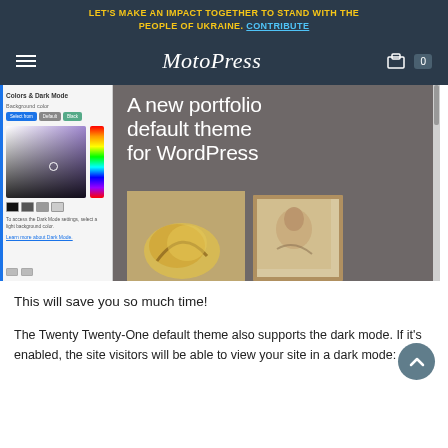LET'S MAKE AN IMPACT TOGETHER TO STAND WITH THE PEOPLE OF UKRAINE. CONTRIBUTE
MotoPress navigation bar with hamburger menu, logo, and cart
[Figure (screenshot): Screenshot of a WordPress theme customizer (Colors & Dark Mode panel) on the left with a color picker UI, and on the right a portfolio theme preview showing text 'A new portfolio default theme for WordPress' over a dark background, with impressionist-style paintings at the bottom.]
This will save you so much time!
The Twenty Twenty-One default theme also supports the dark mode. If it's enabled, the site visitors will be able to view your site in a dark mode: